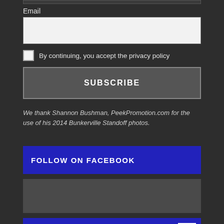Email
By continuing, you accept the privacy policy
SUBSCRIBE
We thank Shannon Bushman, PeekPromotion.com for the use of his 2014 Bunkerville Standoff photos.
FOLLOW ON FACEBOOK
[Figure (other): Gray placeholder box]
PLEASE HELP SUPPORT INDEPENDENT MEDIA.